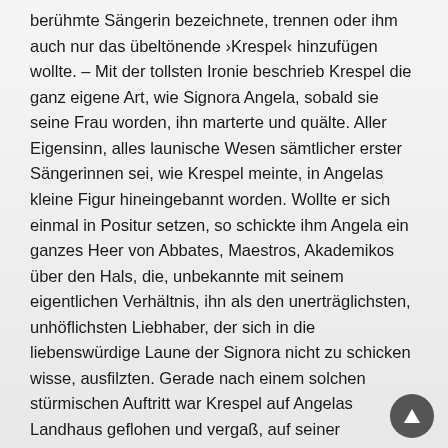berühmte Sängerin bezeichnete, trennen oder ihm auch nur das übeltönende ›Krespel‹ hinzufügen wollte. – Mit der tollsten Ironie beschrieb Krespel die ganz eigene Art, wie Signora Angela, sobald sie seine Frau worden, ihn marterte und quälte. Aller Eigensinn, alles launische Wesen sämtlicher erster Sängerinnen sei, wie Krespel meinte, in Angelas kleine Figur hineingebannt worden. Wollte er sich einmal in Positur setzen, so schickte ihm Angela ein ganzes Heer von Abbates, Maestros, Akademikos über den Hals, die, unbekannte mit seinem eigentlichen Verhältnis, ihn als den unerträglichsten, unhöflichsten Liebhaber, der sich in die liebenswürdige Laune der Signora nicht zu schicken wisse, ausfilzten. Gerade nach einem solchen stürmischen Auftritt war Krespel auf Angelas Landhaus geflohen und vergaß, auf seiner Cremoneser Geige phantasierend, die Leiden des Tages. Doch nicht lange dauerte es, als Signora, die dem Rat schnell nachgefahren, in den Saal trat. Sie war gerade in der Laune, die Zärtliche zu spielen, sie umarmte den Rat mit süßen schmacktenden Blicken, sie legte das Köpfchen auf seine Schulter. Aber der Rat, in die Welt seiner Akkorde verstiegen, geigte fort, daß die Wände widerhallten, und es begab sich, daß er mit Arm und Bogen die Signora etwas